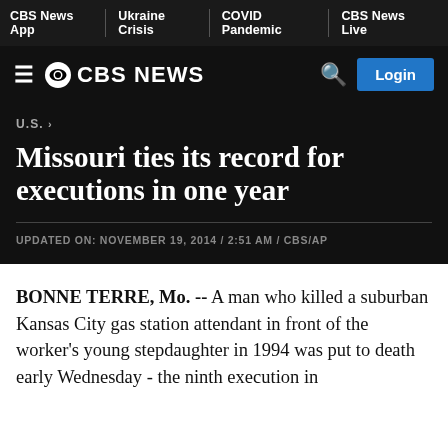CBS News App | Ukraine Crisis | COVID Pandemic | CBS News Live
CBS NEWS
U.S. >
Missouri ties its record for executions in one year
UPDATED ON: NOVEMBER 19, 2014 / 2:51 AM / CBS/AP
BONNE TERRE, Mo. -- A man who killed a suburban Kansas City gas station attendant in front of the worker's young stepdaughter in 1994 was put to death early Wednesday - the ninth execution in